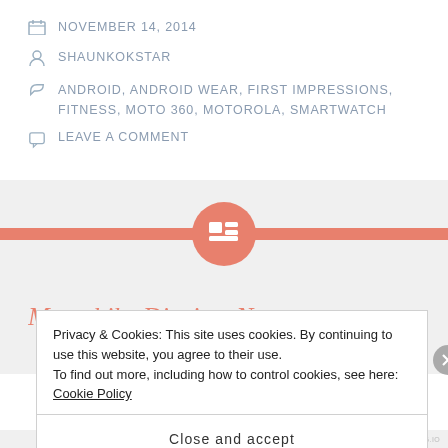NOVEMBER 14, 2014
SHAUNKOKSTAR
ANDROID, ANDROID WEAR, FIRST IMPRESSIONS, FITNESS, MOTO 360, MOTOROLA, SMARTWATCH
LEAVE A COMMENT
[Figure (other): Navigation section with salmon/coral colored horizontal bar and circular icon button in the center containing a grid/layout icon]
Motorbike Diaries: New...
Privacy & Cookies: This site uses cookies. By continuing to use this website, you agree to their use.
To find out more, including how to control cookies, see here: Cookie Policy
Close and accept